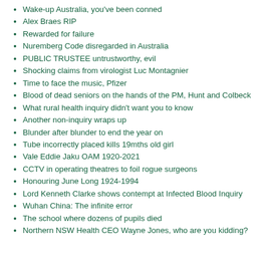Wake-up Australia, you've been conned
Alex Braes RIP
Rewarded for failure
Nuremberg Code disregarded in Australia
PUBLIC TRUSTEE untrustworthy, evil
Shocking claims from virologist Luc Montagnier
Time to face the music, Pfizer
Blood of dead seniors on the hands of the PM, Hunt and Colbeck
What rural health inquiry didn't want you to know
Another non-inquiry wraps up
Blunder after blunder to end the year on
Tube incorrectly placed kills 19mths old girl
Vale Eddie Jaku OAM 1920-2021
CCTV in operating theatres to foil rogue surgeons
Honouring June Long 1924-1994
Lord Kenneth Clarke shows contempt at Infected Blood Inquiry
Wuhan China: The infinite error
The school where dozens of pupils died
Northern NSW Health CEO Wayne Jones, who are you kidding?